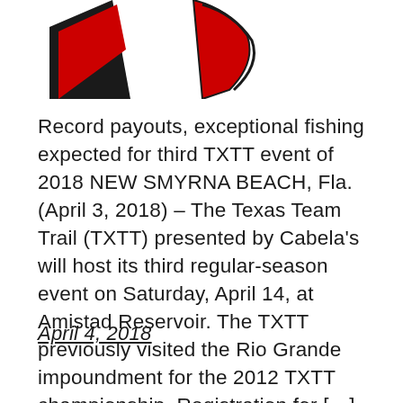[Figure (logo): Partial view of a logo with red and black angular shapes, appears to be a fishing/sports organization logo]
Record payouts, exceptional fishing expected for third TXTT event of 2018 NEW SMYRNA BEACH, Fla. (April 3, 2018) – The Texas Team Trail (TXTT) presented by Cabela's will host its third regular-season event on Saturday, April 14, at Amistad Reservoir. The TXTT previously visited the Rio Grande impoundment for the 2012 TXTT championship. Registration for […]
April 4, 2018